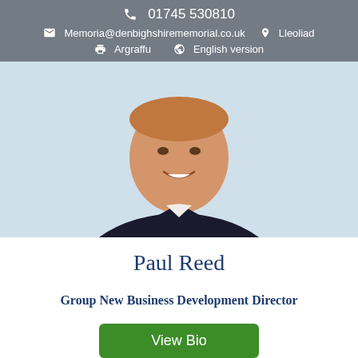01745 530810 | Memoria@denbighshirememorial.co.uk | Lleoliad | Argraffu | English version
[Figure (photo): Professional headshot of Paul Reed, a middle-aged man in a dark suit with white shirt and red tie, smiling, against a light blue background]
Paul Reed
Group New Business Development Director
View Bio